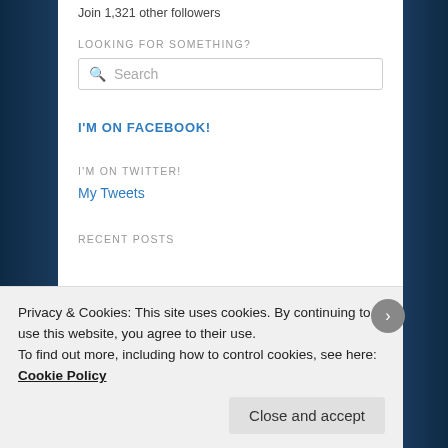Join 1,321 other followers
LOOKING FOR SOMETHING?
Search
I'M ON FACEBOOK!
I'M ON TWITTER!
My Tweets
RECENT POSTS
Privacy & Cookies: This site uses cookies. By continuing to use this website, you agree to their use.
To find out more, including how to control cookies, see here: Cookie Policy
Close and accept